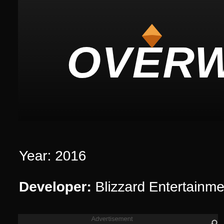[Figure (screenshot): Partial Overwatch game logo on dark background, showing 'OVERW' text in white stylized font with orange diamond/gem icon above the letters]
Year: 2016
Developer: Blizzard Entertainment
Advertisement